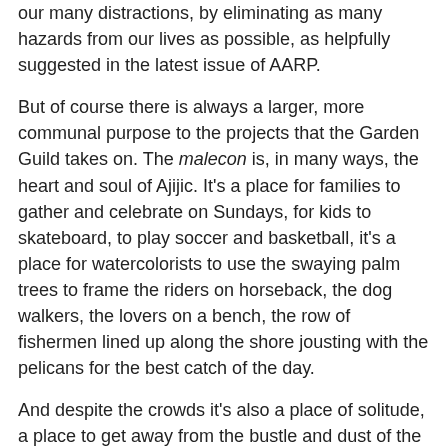our many distractions, by eliminating as many hazards from our lives as possible, as helpfully suggested in the latest issue of AARP.
But of course there is always a larger, more communal purpose to the projects that the Garden Guild takes on. The malecon is, in many ways, the heart and soul of Ajijic. It's a place for families to gather and celebrate on Sundays, for kids to skateboard, to play soccer and basketball, it's a place for watercolorists to use the swaying palm trees to frame the riders on horseback, the dog walkers, the lovers on a bench, the row of fishermen lined up along the shore jousting with the pelicans for the best catch of the day.
And despite the crowds it's also a place of solitude, a place to get away from the bustle and dust of the village streets, a place to daydream, to sort memory from imagination, remembrance from desire.
The bridge, like the hole in it, is of course a metaphor for many things. It's a meeting place, an outstretched hand, a possibility. Caring for and building bridges whether across arroyos, across cultures, or to the future of the community is something the Garden Guild has excelled at for many years, and this latest project will be no exception.
So the dog and I look forward with great anticipation to the